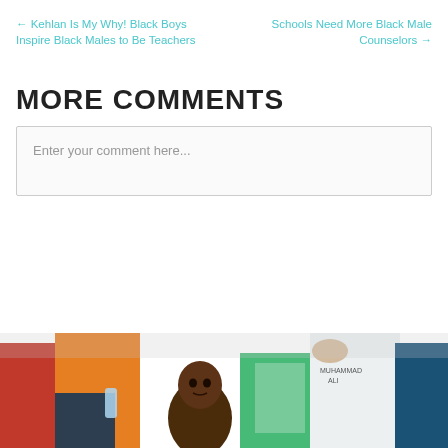← Kehlan Is My Why! Black Boys Inspire Black Males to Be Teachers
Schools Need More Black Male Counselors →
MORE COMMENTS
Enter your comment here...
[Figure (photo): A young Black boy in a crowd at an outdoor event, surrounded by adults wearing colorful shirts]